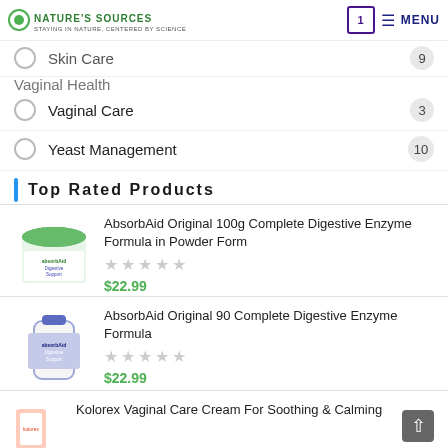NATURE'S SOURCES | Cart 1 | MENU
Skin Care — 9
Vaginal Health
Vaginal Care — 3
Yeast Management — 10
Top Rated Products
AbsorbAid Original 100g Complete Digestive Enzyme Formula in Powder Form — $22.99
AbsorbAid Original 90 Complete Digestive Enzyme Formula — $22.99
Kolorex Vaginal Care Cream For Soothing & Calming